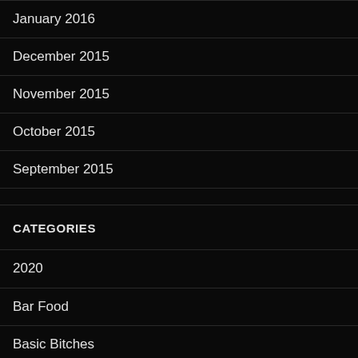January 2016
December 2015
November 2015
October 2015
September 2015
CATEGORIES
2020
Bar Food
Basic Bitches
Bay Ridge
Bean Post